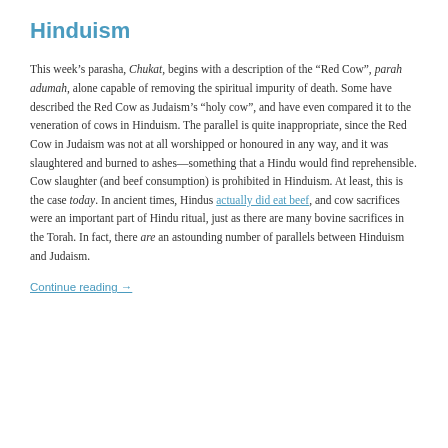Hinduism
This week’s parasha, Chukat, begins with a description of the “Red Cow”, parah adumah, alone capable of removing the spiritual impurity of death. Some have described the Red Cow as Judaism’s “holy cow”, and have even compared it to the veneration of cows in Hinduism. The parallel is quite inappropriate, since the Red Cow in Judaism was not at all worshipped or honoured in any way, and it was slaughtered and burned to ashes—something that a Hindu would find reprehensible. Cow slaughter (and beef consumption) is prohibited in Hinduism. At least, this is the case today. In ancient times, Hindus actually did eat beef, and cow sacrifices were an important part of Hindu ritual, just as there are many bovine sacrifices in the Torah. In fact, there are an astounding number of parallels between Hinduism and Judaism.
Continue reading →